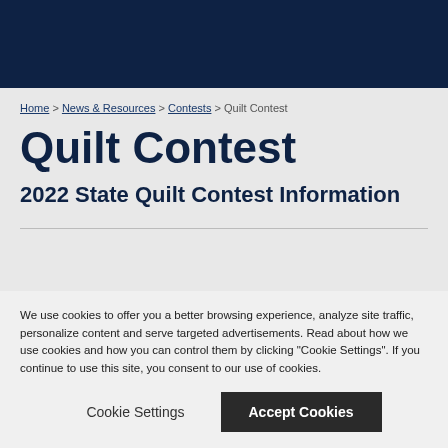Home > News & Resources > Contests > Quilt Contest
Quilt Contest
2022 State Quilt Contest Information
We use cookies to offer you a better browsing experience, analyze site traffic, personalize content and serve targeted advertisements. Read about how we use cookies and how you can control them by clicking "Cookie Settings". If you continue to use this site, you consent to our use of cookies.
Cookie Settings | Accept Cookies